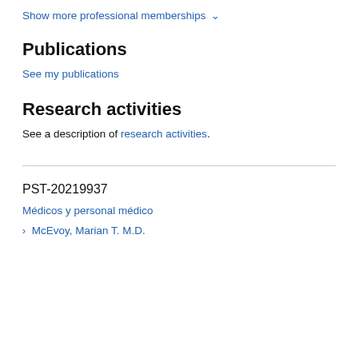Show more professional memberships ˅
Publications
See my publications
Research activities
See a description of research activities.
PST-20219937
Médicos y personal médico
› McEvoy, Marian T. M.D.